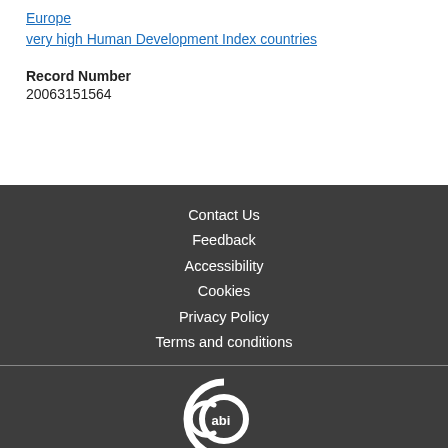Europe
very high Human Development Index countries
Record Number
20063151564
Contact Us
Feedback
Accessibility
Cookies
Privacy Policy
Terms and conditions
[Figure (logo): CABI logo - circular letter C with abi text inside, white on dark background]
© Copyright 2022 CAB International. CABI is a registered EU trademark.